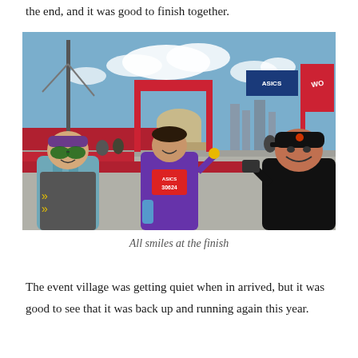the end, and it was good to finish together.
[Figure (photo): Three people posing and smiling at a marathon finish line area. On the left is a person wearing a headband and sunglasses with a hydration vest, in the middle is a woman in a purple running outfit with a race bib, and on the right is a man in a black cap and jacket. Behind them is a tall ship mast, a domed building, race banners and barriers, and a blue sky with clouds.]
All smiles at the finish
The event village was getting quiet when in arrived, but it was good to see that it was back up and running again this year.